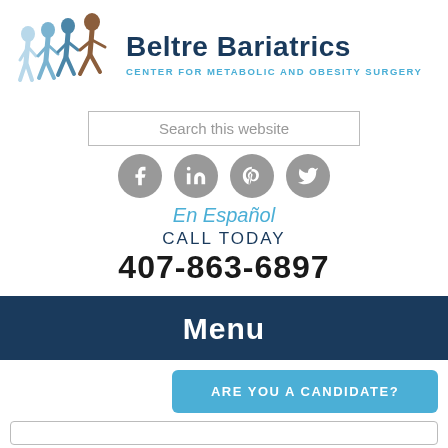[Figure (logo): Beltre Bariatrics logo with running figures in blue and brown]
Beltre Bariatrics
CENTER FOR METABOLIC AND OBESITY SURGERY
Search this website
[Figure (infographic): Social media icons: Facebook, LinkedIn, Pinterest, Twitter]
En Español
CALL TODAY
407-863-6897
Menu
ARE YOU A CANDIDATE?